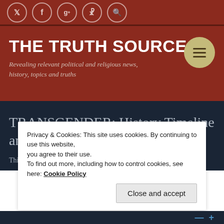Social icons bar: Twitter, Facebook, Google+, WordPress, Search
THE TRUTH SOURCE
Revealing relevant political and religious news, history, topics and truths
TRANSGENDER: History Timeline and Studies
This article offers a detailed Transgender History
Privacy & Cookies: This site uses cookies. By continuing to use this website, you agree to their use.
To find out more, including how to control cookies, see here: Cookie Policy
Close and accept